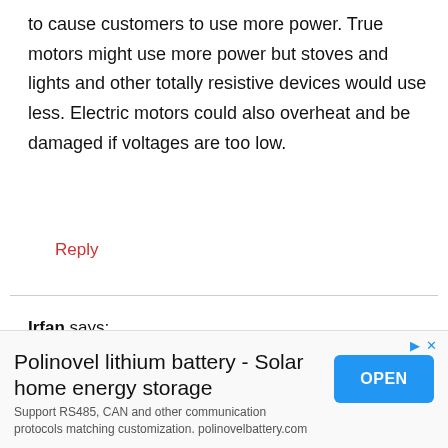to cause customers to use more power. True motors might use more power but stoves and lights and other totally resistive devices would use less. Electric motors could also overheat and be damaged if voltages are too low.
Reply
Irfan says:
March 8, 2017 at 11:25 PM
[Figure (screenshot): Advertisement banner for Polinovel lithium battery - Solar home energy storage with OPEN button]